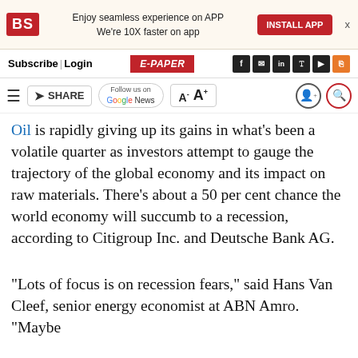BS | Enjoy seamless experience on APP We're 10X faster on app | INSTALL APP
Subscribe | Login | E-PAPER
≡ SHARE | Follow us on Google News | A- A+ | user icon | search icon
Oil is rapidly giving up its gains in what's been a volatile quarter as investors attempt to gauge the trajectory of the global economy and its impact on raw materials. There's about a 50 per cent chance the world economy will succumb to a recession, according to Citigroup Inc. and Deutsche Bank AG.
“Lots of focus is on recession fears,” said Hans Van Cleef, senior energy economist at ABN Amro. “Maybe